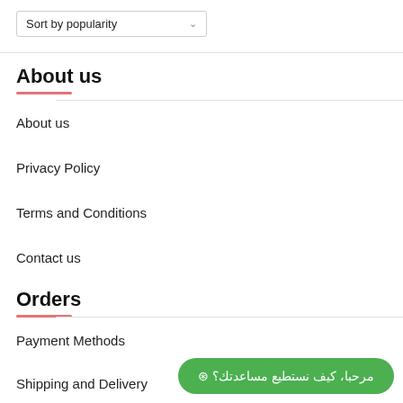Sort by popularity
About us
About us
Privacy Policy
Terms and Conditions
Contact us
Orders
Payment Methods
Shipping and Delivery
مرحبا، كيف نستطيع مساعدتك؟